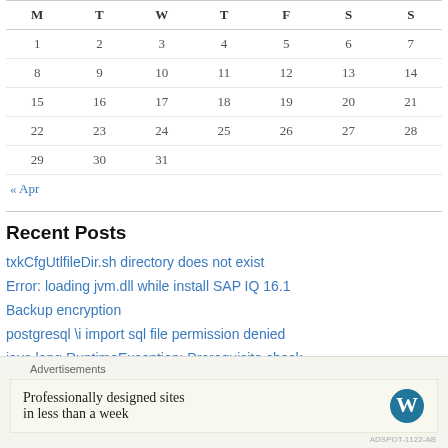| M | T | W | T | F | S | S |
| --- | --- | --- | --- | --- | --- | --- |
| 1 | 2 | 3 | 4 | 5 | 6 | 7 |
| 8 | 9 | 10 | 11 | 12 | 13 | 14 |
| 15 | 16 | 17 | 18 | 19 | 20 | 21 |
| 22 | 23 | 24 | 25 | 26 | 27 | 28 |
| 29 | 30 | 31 |  |  |  |  |
« Apr
Recent Posts
txkCfgUtlfileDir.sh directory does not exist
Error: loading jvm.dll while install SAP IQ 16.1
Backup encryption
postgresql \i import sql file permission denied
java.lang.RuntimeException: Prerequisite check
Advertisements
Professionally designed sites in less than a week